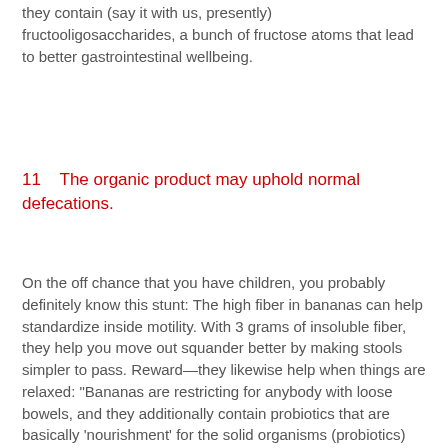they contain (say it with us, presently) fructooligosaccharides, a bunch of fructose atoms that lead to better gastrointestinal wellbeing.
11    The organic product may uphold normal defecations.
On the off chance that you have children, you probably definitely know this stunt: The high fiber in bananas can help standardize inside motility. With 3 grams of insoluble fiber, they help you move out squander better by making stools simpler to pass. Reward—they likewise help when things are relaxed: "Bananas are restricting for anybody with loose bowels, and they additionally contain probiotics that are basically 'nourishment' for the solid organisms (probiotics) that live in our guts," says Isabel Smith